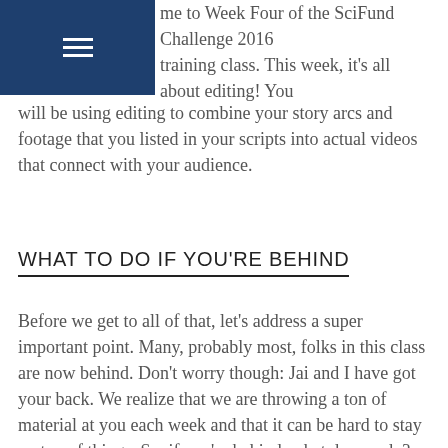≡
me to Week Four of the SciFund Challenge 2016 training class. This week, it's all about editing! You will be using editing to combine your story arcs and footage that you listed in your scripts into actual videos that connect with your audience.
WHAT TO DO IF YOU'RE BEHIND
Before we get to all of that, let's address a super important point. Many, probably most, folks in this class are now behind. Don't worry though: Jai and I have got your back. We realize that we are throwing a ton of material at you each week and that it can be hard to stay on top of things. So, if you're behind, what do you do? First and foremost, don't quit! We have a good strategy for you that can keep you on track.